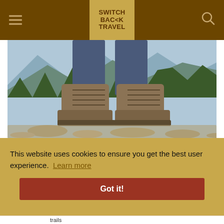SWITCH BACK TRAVEL
[Figure (photo): Close-up photo of a person wearing blue hiking pants and brown hiking shoes/trail runners standing on rocky terrain, with mountains and trees visible in the background.]
This website uses cookies to ensure you get the best user experience. Learn more
Got it!
trails